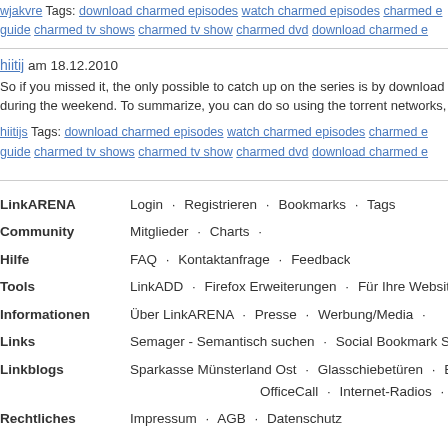wjakvre Tags: download charmed episodes watch charmed episodes charmed e guide charmed tv shows charmed tv show charmed dvd download charmed e
hiitij am 18.12.2010
So if you missed it, the only possible to catch up on the series is by download during the weekend. To summarize, you can do so using the torrent networks,
hiitijs Tags: download charmed episodes watch charmed episodes charmed e guide charmed tv shows charmed tv show charmed dvd download charmed e
LinkARENA  Login · Registrieren · Bookmarks · Tags
Community  Mitglieder · Charts ·
Hilfe  FAQ · Kontaktanfrage · Feedback
Tools  LinkADD · Firefox Erweiterungen · Für Ihre Website
Informationen  Über LinkARENA · Presse · Werbung/Media ·
Links  Semager - Semantisch suchen · Social Bookmark Scri
Linkblogs  Sparkasse Münsterland Ost · Glasschiebetüren · B  OfficeCall · Internet-Radios · Giesserei Jürgens ·
Rechtliches  Impressum · AGB · Datenschutz